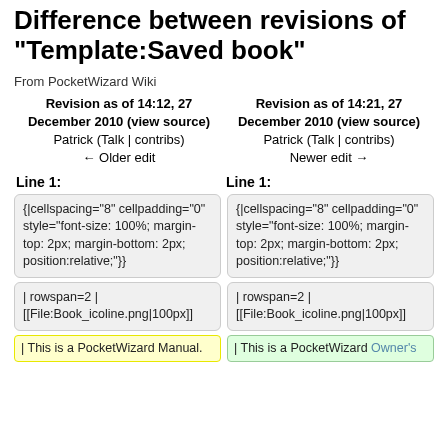Difference between revisions of "Template:Saved book"
From PocketWizard Wiki
Revision as of 14:12, 27 December 2010 (view source)
Patrick (Talk | contribs)
← Older edit
Revision as of 14:21, 27 December 2010 (view source)
Patrick (Talk | contribs)
Newer edit →
Line 1:
Line 1:
{|cellspacing="8" cellpadding="0" style="font-size: 100%; margin-top: 2px; margin-bottom: 2px; position:relative;"}}
{|cellspacing="8" cellpadding="0" style="font-size: 100%; margin-top: 2px; margin-bottom: 2px; position:relative;"}}
| rowspan=2 |
[[File:Book_icoline.png|100px]]
| rowspan=2 |
[[File:Book_icoline.png|100px]]
| This is a PocketWizard Manual.
| This is a PocketWizard Owner's